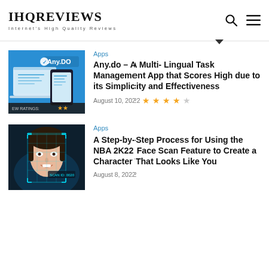IHQREVIEWS — Internet's High Quality Reviews
[Figure (screenshot): Article card: Any.do app — smartphone and laptop with Any.DO interface on blue background, with review rating stars]
Apps
Any.do – A Multi- Lingual Task Management App that Scores High due to its Simplicity and Effectiveness
August 10, 2022  ★★★★☆
[Figure (photo): Article card: Young woman's face with face-scan overlay grid lines on dark teal background]
Apps
A Step-by-Step Process for Using the NBA 2K22 Face Scan Feature to Create a Character That Looks Like You
August 8, 2022